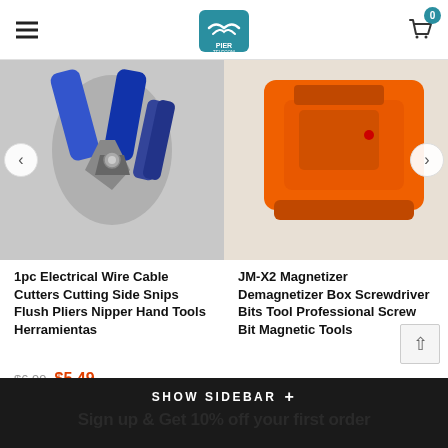Pier Telecom — navigation header with logo and cart
[Figure (photo): Left product: wire cable cutters/pliers with blue and black handles on grey background]
[Figure (photo): Right product: orange JM-X2 magnetizer/demagnetizer box on light background]
1pc Electrical Wire Cable Cutters Cutting Side Snips Flush Pliers Nipper Hand Tools Herramientas
$6.99  $5.49
JM-X2 Magnetizer Demagnetizer Box Screwdriver Bits Tool Professional Screw Bit Magnetic Tools
$7.99
SHOW SIDEBAR +  Sign up & Get 10% off your first order